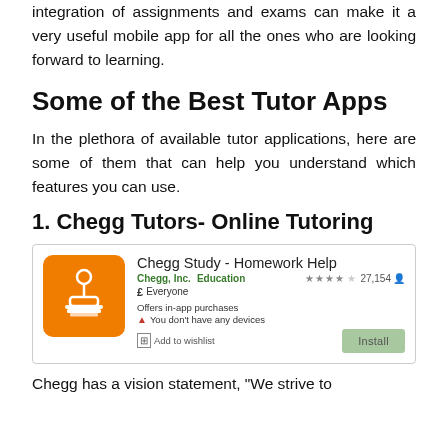integration of assignments and exams can make it a very useful mobile app for all the ones who are looking forward to learning.
Some of the Best Tutor Apps
In the plethora of available tutor applications, here are some of them that can help you understand which features you can use.
1. Chegg Tutors- Online Tutoring
[Figure (screenshot): Google Play Store listing for Chegg Study - Homework Help app. Shows orange app icon with student/desk lamp illustration, app title, developer Chegg Inc., Education category, 4-star rating with 27,154 reviews, Everyone rating, Offers in-app purchases note, warning about no devices, Add to wishlist and Install buttons.]
Chegg has a vision statement, "We strive to